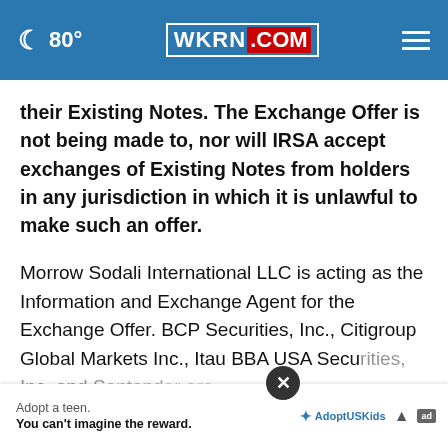80° WKRN.COM
their Existing Notes. The Exchange Offer is not being made to, nor will IRSA accept exchanges of Existing Notes from holders in any jurisdiction in which it is unlawful to make such an offer.
Morrow Sodali International LLC is acting as the Information and Exchange Agent for the Exchange Offer. BCP Securities, Inc., Citigroup Global Markets Inc., Itau BBA USA Securities, Inc. and S... are
Adopt a teen. You can't imagine the reward.